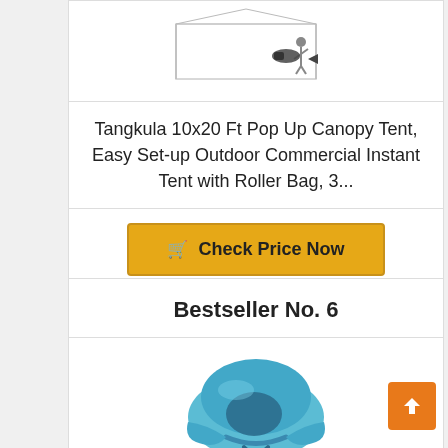[Figure (photo): Product image of a pop-up canopy tent with a person and blower, shown from the side on white background]
Tangkula 10x20 Ft Pop Up Canopy Tent, Easy Set-up Outdoor Commercial Instant Tent with Roller Bag, 3...
Check Price Now
Bestseller No. 6
[Figure (photo): Product image of a blue pop-up beach/camping tent shown folded/collapsing, light blue color]